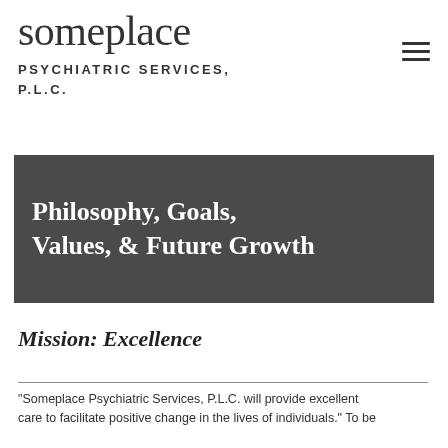someplace
PSYCHIATRIC SERVICES, P.L.C.
Philosophy, Goals, Values, & Future Growth
Mission: Excellence
"Someplace Psychiatric Services, P.L.C. will provide excellent care to facilitate positive change in the lives of individuals." To be